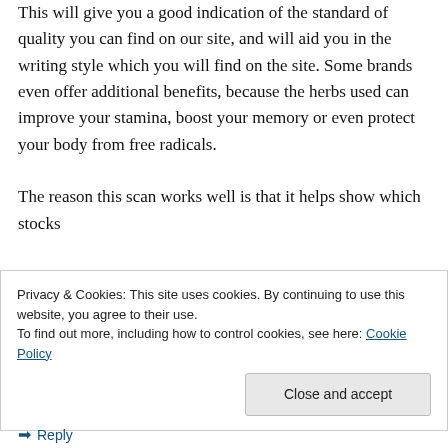This will give you a good indication of the standard of quality you can find on our site, and will aid you in the writing style which you will find on the site. Some brands even offer additional benefits, because the herbs used can improve your stamina, boost your memory or even protect your body from free radicals. The reason this scan works well is that it helps show which stocks
Privacy & Cookies: This site uses cookies. By continuing to use this website, you agree to their use. To find out more, including how to control cookies, see here: Cookie Policy
Close and accept
Reply